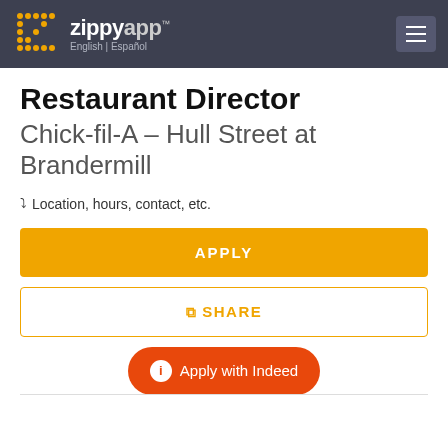ZippyApp™ English | Español
Restaurant Director
Chick-fil-A – Hull Street at Brandermill
Location, hours, contact, etc.
APPLY
SHARE
Apply with Indeed